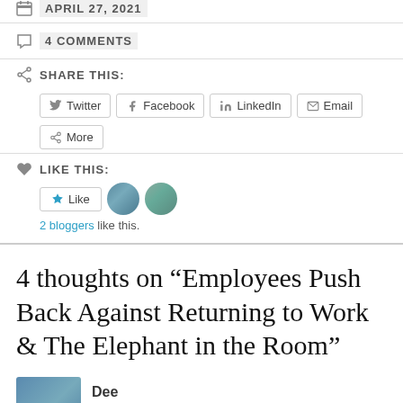APRIL 27, 2021
4 COMMENTS
SHARE THIS:
Twitter  Facebook  LinkedIn  Email  More
LIKE THIS:
Like  2 bloggers like this.
4 thoughts on “Employees Push Back Against Returning to Work & The Elephant in the Room”
Dee
APRIL 27, 2021 AT 8:19 AM